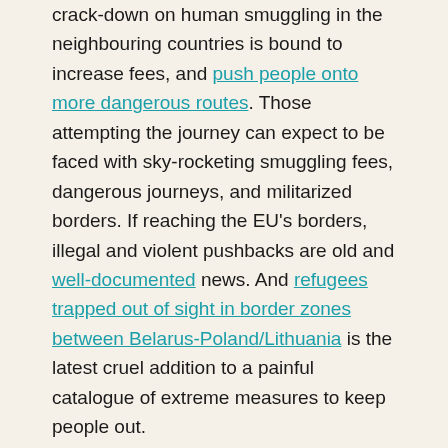crack-down on human smuggling in the neighbouring countries is bound to increase fees, and push people onto more dangerous routes. Those attempting the journey can expect to be faced with sky-rocketing smuggling fees, dangerous journeys, and militarized borders. If reaching the EU's borders, illegal and violent pushbacks are old and well-documented news. And refugees trapped out of sight in border zones between Belarus-Poland/Lithuania is the latest cruel addition to a painful catalogue of extreme measures to keep people out.
Safe, regular, and accessible pathways for protection and labour migration must be enhanced and diversified to decrease dependency on smugglers.
A half-hearted use of evidence for